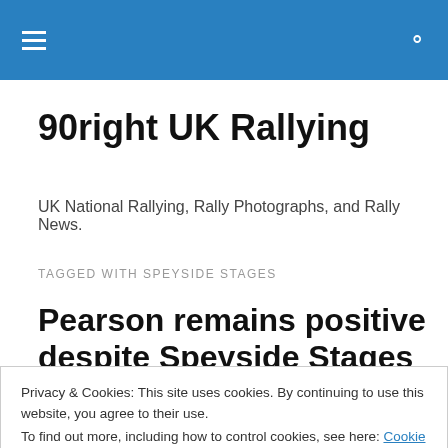90right UK Rallying — navigation header with hamburger menu and search icon
90right UK Rallying
UK National Rallying, Rally Photographs, and Rally News.
TAGGED WITH SPEYSIDE STAGES
Pearson remains positive despite Speyside Stages woe
Privacy & Cookies: This site uses cookies. By continuing to use this website, you agree to their use.
To find out more, including how to control cookies, see here: Cookie Policy
[Figure (photo): Partial view of a rally car at the bottom of the page]